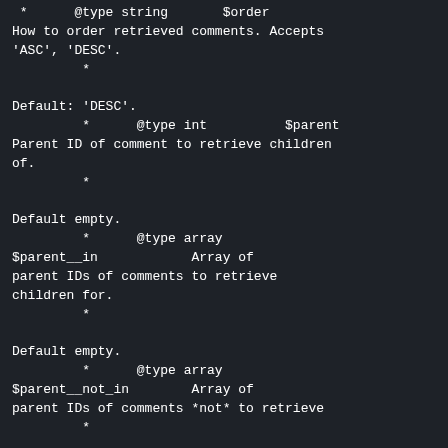*      @type string       $order
How to order retrieved comments. Accepts
'ASC', 'DESC'.
         *

Default: 'DESC'.
         *      @type int          $parent
Parent ID of comment to retrieve children
of.
         *

Default empty.
         *      @type array
$parent__in            Array of
parent IDs of comments to retrieve
children for.
         *

Default empty.
         *      @type array
$parent__not_in        Array of
parent IDs of comments *not* to retrieve
         *

children for. Default empty.
         *      @type array